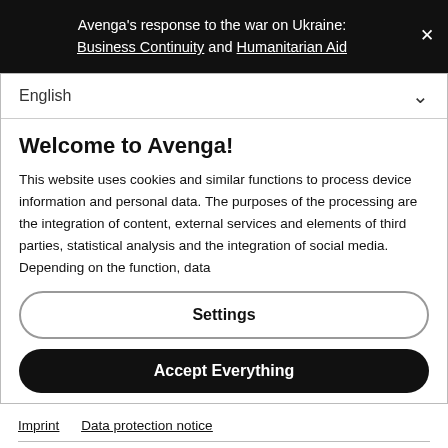Avenga's response to the war on Ukraine: Business Continuity and Humanitarian Aid
English
Welcome to Avenga!
This website uses cookies and similar functions to process device information and personal data. The purposes of the processing are the integration of content, external services and elements of third parties, statistical analysis and the integration of social media. Depending on the function, data
Settings
Accept Everything
Imprint   Data protection notice
goal, keeping track of time and money, as well as